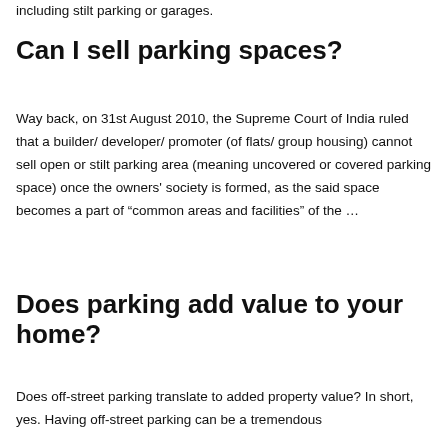including stilt parking or garages.
Can I sell parking spaces?
Way back, on 31st August 2010, the Supreme Court of India ruled that a builder/ developer/ promoter (of flats/ group housing) cannot sell open or stilt parking area (meaning uncovered or covered parking space) once the owners' society is formed, as the said space becomes a part of “common areas and facilities” of the …
Does parking add value to your home?
Does off-street parking translate to added property value? In short, yes. Having off-street parking can be a tremendous